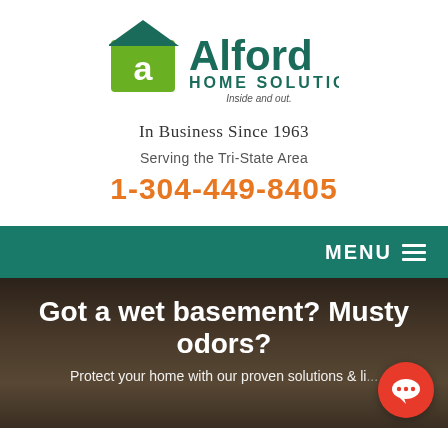[Figure (logo): Alford Home Solutions logo with green house icon and 'a' lettermark, teal/dark green wordmark, tagline 'Inside and out.']
In Business Since 1963
Serving the Tri-State Area
1-304-449-8405
MENU ☰
Got a wet basement? Musty odors?
Protect your home with our proven solutions & li... warranty.